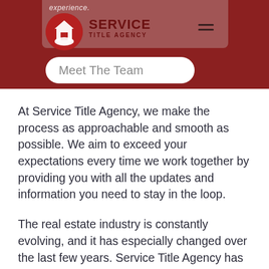experience.
[Figure (logo): Service Title Agency logo: red circle with white house and hands, red bold text SERVICE TITLE AGENCY]
Meet The Team
At Service Title Agency, we make the process as approachable and smooth as possible. We aim to exceed your expectations every time we work together by providing you with all the updates and information you need to stay in the loop.
The real estate industry is constantly evolving, and it has especially changed over the last few years. Service Title Agency has made sure to stay in